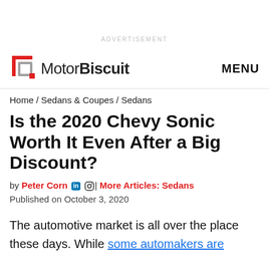ADVERTISEMENT
MotorBiscuit   MENU
Home / Sedans & Coupes / Sedans
Is the 2020 Chevy Sonic Worth It Even After a Big Discount?
by Peter Corn in | More Articles: Sedans
Published on October 3, 2020
The automotive market is all over the place these days. While some automakers are